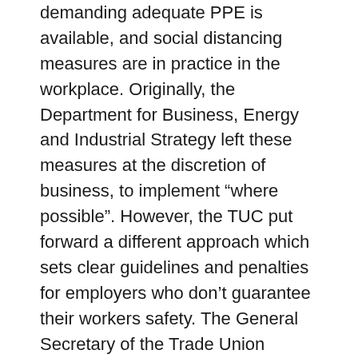demanding adequate PPE is available, and social distancing measures are in practice in the workplace. Originally, the Department for Business, Energy and Industrial Strategy left these measures at the discretion of business, to implement “where possible”. However, the TUC put forward a different approach which sets clear guidelines and penalties for employers who don’t guarantee their workers safety. The General Secretary of the Trade Union Congress (TUC) Frances O’Grady stated that “Unions want everyone to get back to work and start rebuilding Britain. But workers need to be confident that they won’t put themselves or their families at unnecessary risk.”